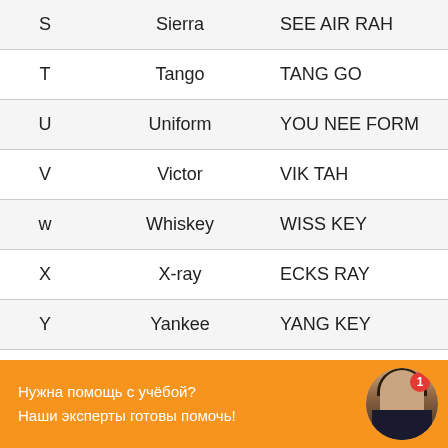| Letter | Word | Pronunciation |
| --- | --- | --- |
| S | Sierra | SEE AIR RAH |
| T | Tango | TANG GO |
| U | Uniform | YOU NEE FORM |
| V | Victor | VIK TAH |
| w | Whiskey | WISS KEY |
| X | X-ray | ECKS RAY |
| Y | Yankee | YANG KEY |
Нужна помощь с учёбой?
Наши эксперты готовы помочь!